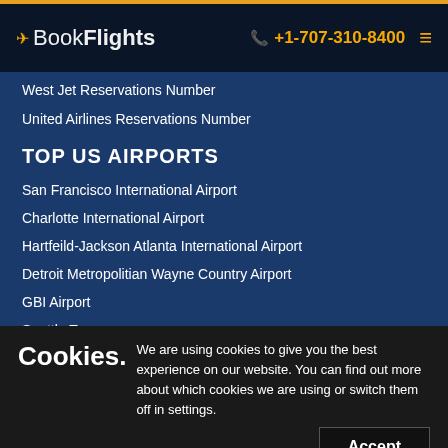BookFlights +1-707-310-8400
West Jet Reservations Number
United Airlines Reservations Number
TOP US AIRPORTS
San Francisco International Airport
Charlotte International Airport
Hartfeild-Jackson Atlanta International Airport
Detroit Metropolitian Wayne Country Airport
GBI Airport
Seattle T...
Cookies. We are using cookies to give you the best experience on our website. You can find out more about which cookies we are using or switch them off in settings.
Call Now +1-707-310-8400